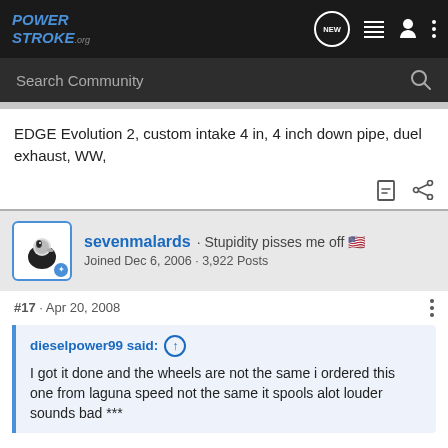POWER STROKE .org
EDGE Evolution 2, custom intake 4 in, 4 inch down pipe, duel exhaust, WW,
sevenmalards · Stupidity pisses me off 🇺🇸
Joined Dec 6, 2006 · 3,922 Posts
#17 · Apr 20, 2008
dieselpower99 said: ↑
I got it done and the wheels are not the same i ordered this one from laguna speed not the same it spools alot louder sounds bad ***
Yes they definately sound sweet! Good job getting it done!